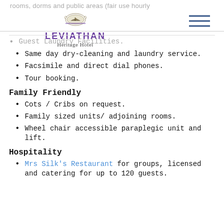rooms, dorms and public areas (fair use hourly
[Figure (logo): Leviathan Heritage Hotel logo with decorative oval emblem on top, hotel name in purple bold letters, subtitle Heritage Hotel]
Guest Laundry Facilities.
Same day dry-cleaning and laundry service.
Facsimile and direct dial phones.
Tour booking.
Family Friendly
Cots / Cribs on request.
Family sized units/ adjoining rooms.
Wheel chair accessible paraplegic unit and lift.
Hospitality
Mrs Silk's Restaurant for groups, licensed and catering for up to 120 guests.